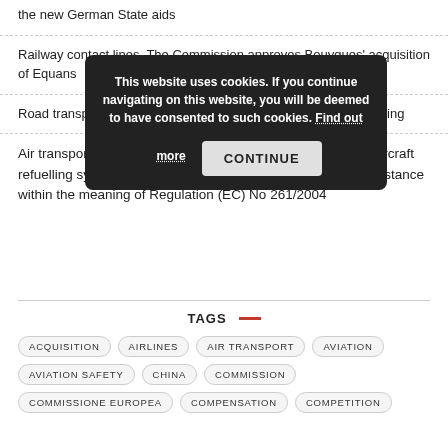the new German State aids
Railway contact lines. The Commission approves Bouygues' acquisition of Equans
Road transport. The new General Safety Regulation starts applying
Air transport. The Court of Justice ruled that a failure of the aircraft refuelling system can be regarded as an extraordinary circumstance within the meaning of Regulation (EC) No 261/2004
TAGS
ACQUISITION | AIRLINES | AIR TRANSPORT | AVIATION | AVIATION SAFETY | CHINA | COMMISSION | COMMISSIONE EUROPEA | COMPENSATION | COMPETITION